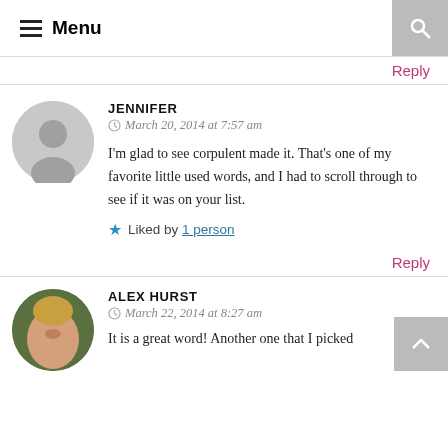≡ Menu
Reply
JENNIFER
March 20, 2014 at 7:57 am
I'm glad to see corpulent made it. That's one of my favorite little used words, and I had to scroll through to see if it was on your list.
★ Liked by 1 person
Reply
ALEX HURST
March 22, 2014 at 8:27 am
It is a great word! Another one that I picked …